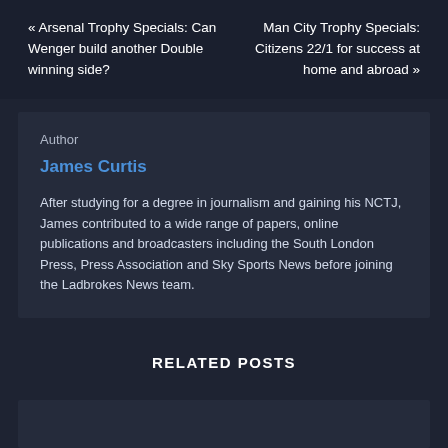« Arsenal Trophy Specials: Can Wenger build another Double winning side?
Man City Trophy Specials: Citizens 22/1 for success at home and abroad »
Author
James Curtis
After studying for a degree in journalism and gaining his NCTJ, James contributed to a wide range of papers, online publications and broadcasters including the South London Press, Press Association and Sky Sports News before joining the Ladbrokes News team.
RELATED POSTS